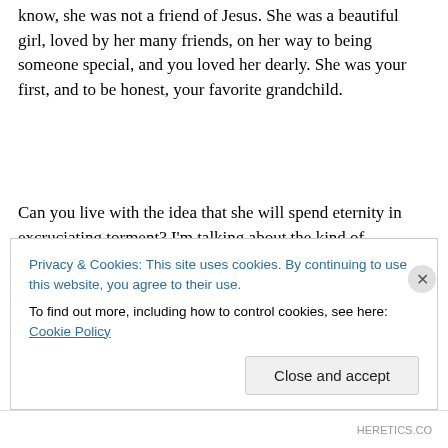know, she was not a friend of Jesus. She was a beautiful girl, loved by her many friends, on her way to being someone special, and you loved her dearly. She was your first, and to be honest, your favorite grandchild.
Can you live with the idea that she will spend eternity in excruciating torment? I'm talking about the kind of punishment no human would even inflict on another human. After all, isn't that what you were taught about hell
Privacy & Cookies: This site uses cookies. By continuing to use this website, you agree to their use.
To find out more, including how to control cookies, see here: Cookie Policy
HERETICS.CO